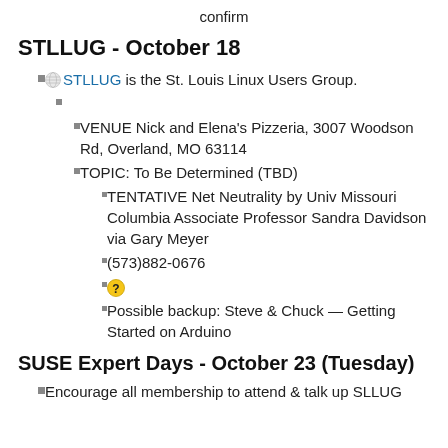confirm
STLLUG - October 18
STLLUG is the St. Louis Linux Users Group.
VENUE Nick and Elena's Pizzeria, 3007 Woodson Rd, Overland, MO 63114
TOPIC: To Be Determined (TBD)
TENTATIVE Net Neutrality by Univ Missouri Columbia Associate Professor Sandra Davidson via Gary Meyer
(573)882-0676
Possible backup: Steve & Chuck — Getting Started on Arduino
SUSE Expert Days - October 23 (Tuesday)
Encourage all membership to attend & talk up SLLUG